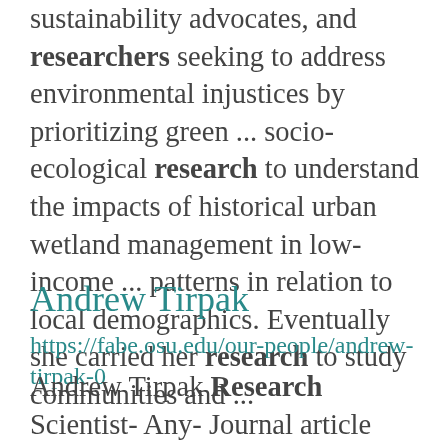sustainability advocates, and researchers seeking to address environmental injustices by prioritizing green ... socio-ecological research to understand the impacts of historical urban wetland management in low-income ... patterns in relation to local demographics. Eventually she carried her research to study communities and ...
Andrew Tirpak
https://fabe.osu.edu/our-people/andrew-tirpak-0
Andrew Tirpak Research Scientist- Any- Journal article Book/book chapter Report